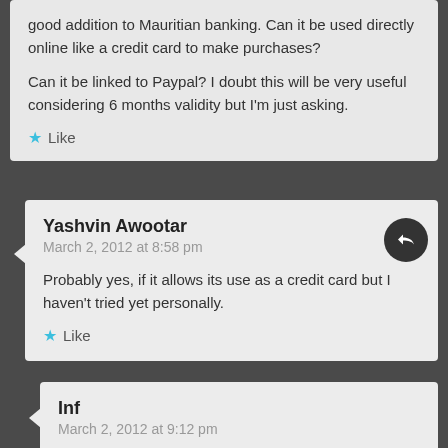good addition to Mauritian banking. Can it be used directly online like a credit card to make purchases?
Can it be linked to Paypal? I doubt this will be very useful considering 6 months validity but I'm just asking.
Like
Yashvin Awootar
March 2, 2012 at 8:58 pm
Probably yes, if it allows its use as a credit card but I haven't tried yet personally.
Like
Inf
March 2, 2012 at 9:12 pm